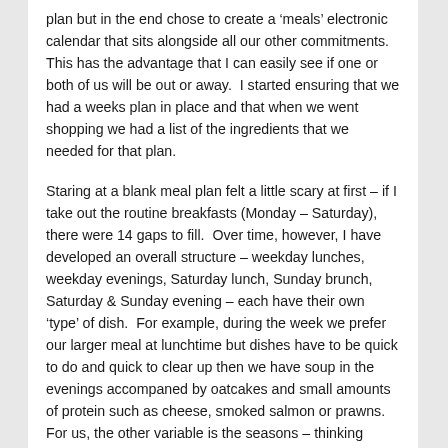plan but in the end chose to create a ‘meals’ electronic calendar that sits alongside all our other commitments. This has the advantage that I can easily see if one or both of us will be out or away.  I started ensuring that we had a weeks plan in place and that when we went shopping we had a list of the ingredients that we needed for that plan.
Staring at a blank meal plan felt a little scary at first – if I take out the routine breakfasts (Monday – Saturday), there were 14 gaps to fill.  Over time, however, I have developed an overall structure – weekday lunches, weekday evenings, Saturday lunch, Sunday brunch, Saturday & Sunday evening – each have their own ‘type’ of dish.  For example, during the week we prefer our larger meal at lunchtime but dishes have to be quick to do and quick to clear up then we have soup in the evenings accompaned by oatcakes and small amounts of protein such as cheese, smoked salmon or prawns.  For us, the other variable is the seasons – thinking about what is ready at the allotment and shifting with what is available means that ‘structure’ doesn’t mean the same thing each